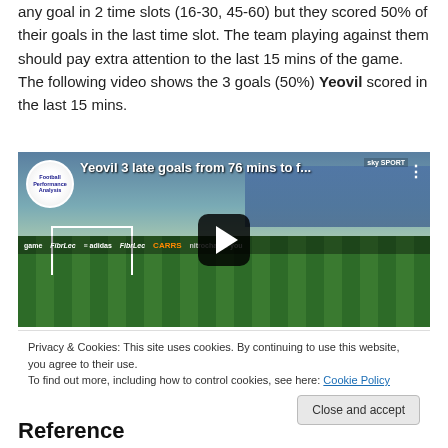any goal in 2 time slots (16-30, 45-60) but they scored 50% of their goals in the last time slot. The team playing against them should pay extra attention to the last 15 mins of the game. The following video shows the 3 goals (50%) Yeovil scored in the last 15 mins.
[Figure (screenshot): YouTube video thumbnail showing Yeovil 3 late goals from 76 mins to f... with Football Performance Analysis logo, play button overlay, and football stadium background]
Privacy & Cookies: This site uses cookies. By continuing to use this website, you agree to their use.
To find out more, including how to control cookies, see here: Cookie Policy
Reference